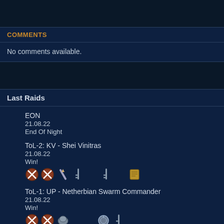COMMENTS
No comments available.
Last Raids
EON
21.08.22
End Of Night
ToL-2: KV - Shei Vinitras
21.08.22
Win!
ToL-1: UP - Netherbian Swarm Commander
21.08.22
Win!
ToL-2: ME - Free the Goranga
21.08.22
Win!